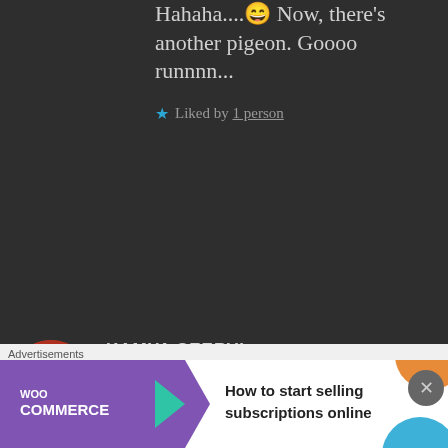Hahaha....😄 Now, there's another pigeon. Goooo runnnn...
★ Liked by 1 person
KAMYA SEERVI says: Oct 6, 2020 at 10:09 PM
The other one's my sister. I have a very low self esteem 😅
★ Liked by 1 person
[Figure (photo): User avatar of Kamya Seervi showing a person on orange spiral staircase]
Advertisements
[Figure (logo): WooCommerce advertisement banner - How to start selling subscriptions online]